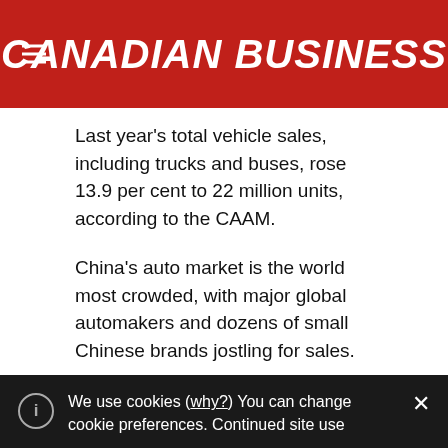CANADIAN BUSINESS
Last year's total vehicle sales, including trucks and buses, rose 13.9 per cent to 22 million units, according to the CAAM.
China's auto market is the world most crowded, with major global automakers and dozens of small Chinese brands jostling for sales.
The intense competition is squeezing indigenous Chinese automakers that have less advanced technology, especially as sales growth slows.
We use cookies (why?) You can change cookie preferences. Continued site use